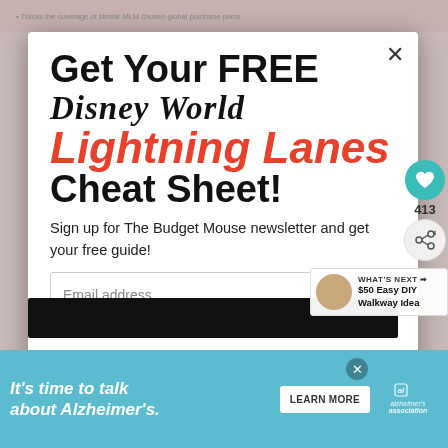Get Your FREE Disney World Lightning Lanes Cheat Sheet!
Sign up for The Budget Mouse newsletter and get your free guide!
Email address
WHAT'S NEXT → $50 Easy DIY Walkway Idea
413
[Figure (infographic): Black button bar for form submission]
[Figure (infographic): Ad banner: It's time to talk about Alzheimer's. Learn More button with Alzheimer's Association logo]